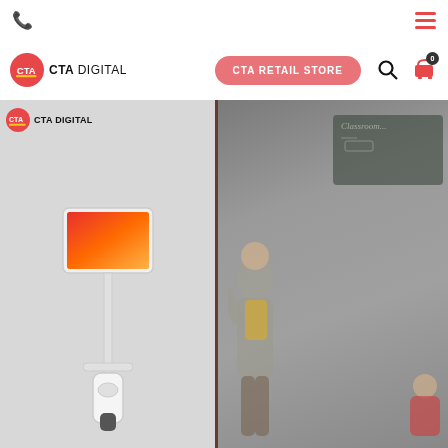[Figure (screenshot): CTA Digital website screenshot showing navigation bar with phone icon, hamburger menu, CTA Digital logo, CTA Retail Store button, search icon, and cart. Below is a hero image split into two panels: left shows a white iPad stand kiosk with an iPad mounted and a hand sanitizer dispenser, right shows a blurred classroom scene with a teacher at a chalkboard.]
CTA DIGITAL — CTA RETAIL STORE
CTA RETAIL STORE
CTA DIGITAL